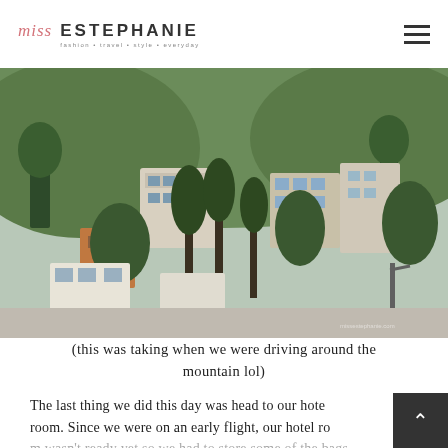miss Estephanie
[Figure (photo): Buildings and houses built on a hillside mountain with dense trees and greenery, taken while driving around a mountain.]
(this was taking when we were driving around the mountain lol)
The last thing we did this day was head to our hotel room. Since we were on an early flight, our hotel roo...